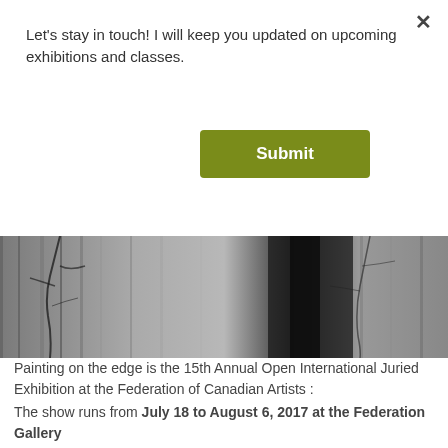Let's stay in touch! I will keep you updated on upcoming exhibitions and classes.
Submit
[Figure (photo): Dark monochromatic painting or photograph showing bare tree branches against a textured, streaked grey background with a dark central area.]
Painting on the edge is the 15th Annual Open International Juried Exhibition at the Federation of Canadian Artists :
The show runs from July 18 to August 6, 2017 at the Federation Gallery
Summer Gallery Hours
Effective May 20 – September 31
Monday – Sunday, 10:00 – 5.00